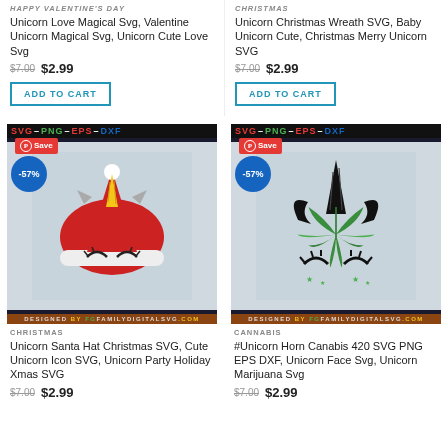HAPPY VALENTINE'S DAY
Unicorn Love Magical Svg, Valentine Unicorn Magical Svg, Unicorn Cute Love Svg
$7.00  $2.99
ADD TO CART
CHRISTMAS
Unicorn Christmas Wreath SVG, Baby Unicorn Cute, Christmas Merry Unicorn SVG
$7.00  $2.99
ADD TO CART
[Figure (illustration): Unicorn Santa Hat Christmas SVG product image with SVG PNG EPS DXF banner, Save badge, -57% discount circle. Unicorn face with Santa hat and eyelashes. DESIGNED BY FG FAMILYDIGITALSVG.COM banner at bottom.]
[Figure (illustration): Unicorn Horn Cannabis 420 SVG product image with SVG PNG EPS DXF banner, Save badge, -57% discount circle. Unicorn face with cannabis leaf. DESIGNED BY FG FAMILYDIGITALSVG.COM banner at bottom.]
CHRISTMAS
Unicorn Santa Hat Christmas SVG, Cute Unicorn Icon SVG, Unicorn Party Holiday Xmas SVG
$7.00  $2.99
CANNABIS
#Unicorn Horn Canabis 420 SVG PNG EPS DXF, Unicorn Face Svg, Unicorn Marijuana Svg
$7.00  $2.99